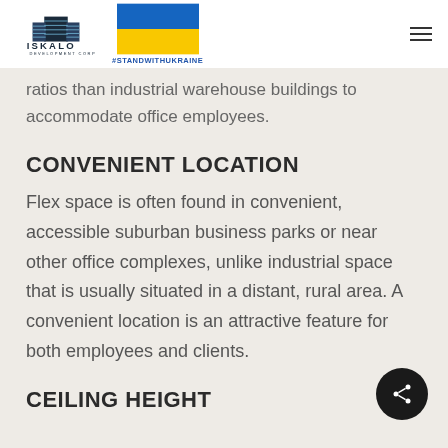[Figure (logo): Iskalo Development Corp logo with building icon and text]
[Figure (illustration): Ukrainian flag (blue and yellow) with #STANDWITHUKRAINE text below]
ratios than industrial warehouse buildings to accommodate office employees.
CONVENIENT LOCATION
Flex space is often found in convenient, accessible suburban business parks or near other office complexes, unlike industrial space that is usually situated in a distant, rural area. A convenient location is an attractive feature for both employees and clients.
CEILING HEIGHT